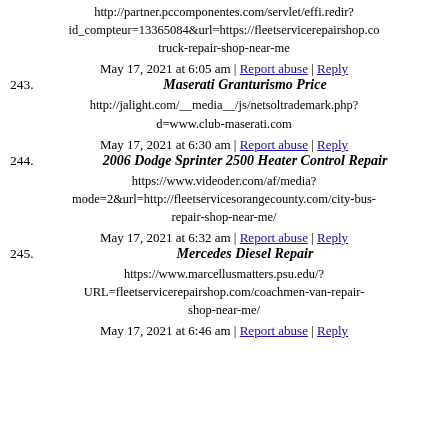http://partner.pccomponentes.com/servlet/effi.redir?id_compteur=13365084&url=https://fleetservicerepairshop.com/truck-repair-shop-near-me
May 17, 2021 at 6:05 am | Report abuse | Reply
243. Maserati Granturismo Price
http://jalight.com/__media__/js/netsoltrademark.php?d=www.club-maserati.com
May 17, 2021 at 6:30 am | Report abuse | Reply
244. 2006 Dodge Sprinter 2500 Heater Control Repair
https://www.videoder.com/af/media?mode=2&url=http://fleetservicesorangecounty.com/city-bus-repair-shop-near-me/
May 17, 2021 at 6:32 am | Report abuse | Reply
245. Mercedes Diesel Repair
https://www.marcellusmatters.psu.edu/?URL=fleetservicerepairshop.com/coachmen-van-repair-shop-near-me/
May 17, 2021 at 6:46 am | Report abuse | Reply